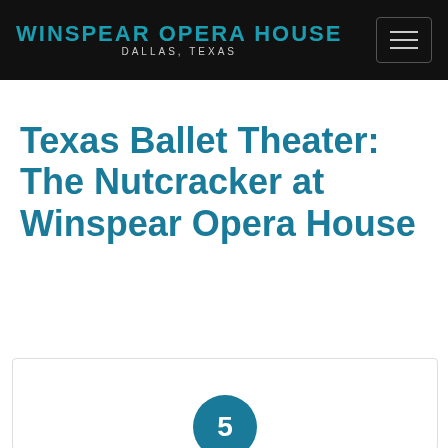WINSPEAR OPERA HOUSE DALLAS, TEXAS
Texas Ballet Theater: The Nutcracker at Winspear Opera House
[Figure (other): Partial card with teal circle containing number 5]